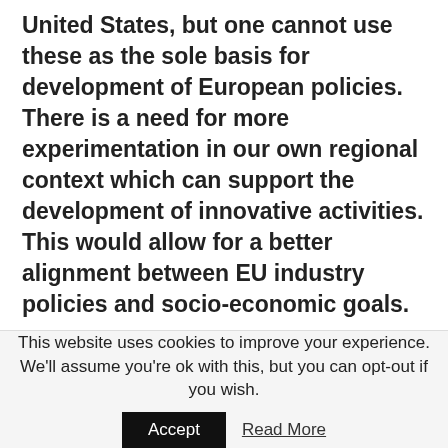United States, but one cannot use these as the sole basis for development of European policies. There is a need for more experimentation in our own regional context which can support the development of innovative activities. This would allow for a better alignment between EU industry policies and socio-economic goals.
Beyond data: the other six challenges
This website uses cookies to improve your experience. We'll assume you're ok with this, but you can opt-out if you wish.